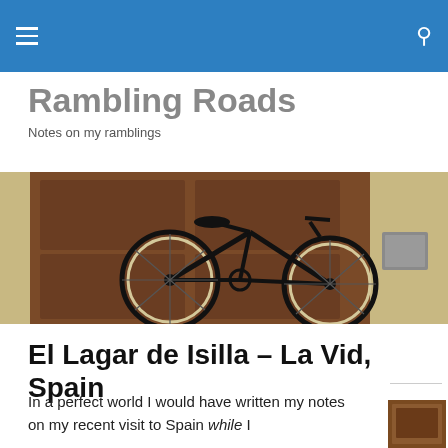Rambling Roads – Navigation bar
Rambling Roads
Notes on my ramblings
[Figure (photo): A black vintage bicycle leaning against a dark wooden door set in a yellow ochre wall, with a small grey stone plaque visible on the wall to the right.]
El Lagar de Isilla – La Vid, Spain
In a perfect world I would have written my notes on my recent visit to Spain while I